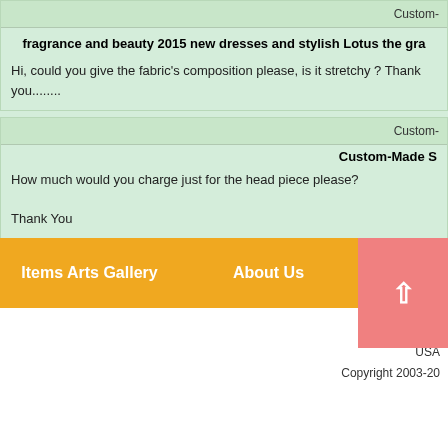Custom-
fragrance and beauty 2015 new dresses and stylish Lotus the gra
Hi, could you give the fabric's composition please, is it stretchy ? Thank you........
Custom-
Custom-Made S
How much would you charge just for the head piece please?

Thank You

Kind Regards

ésa.......
Items Arts Gallery
About Us
Service
USA
Copyright 2003-20